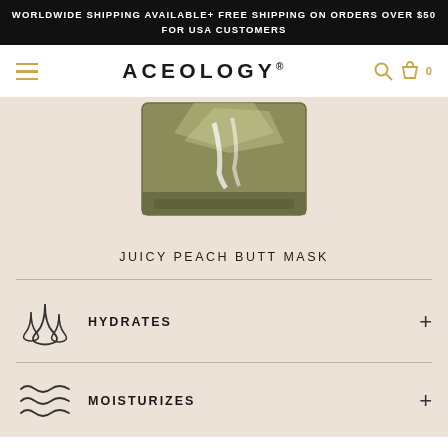WORLDWIDE SHIPPING AVAILABLE+ FREE SHIPPING ON ORDERS OVER $50 FOR USA CUSTOMERS
ACEOLOGY®
[Figure (photo): Gold/olive foil packet product shot — Juicy Peach Butt Mask packaging, partially opened, on a blush/nude background]
JUICY PEACH BUTT MASK
HYDRATES
MOISTURIZES